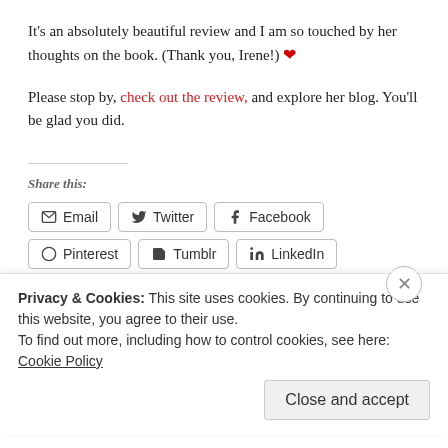It's an absolutely beautiful review and I am so touched by her thoughts on the book. (Thank you, Irene!) ❤
Please stop by, check out the review, and explore her blog. You'll be glad you did.
Share this:
Email  Twitter  Facebook  Pinterest  Tumblr  LinkedIn  Reddit  Pocket
Privacy & Cookies: This site uses cookies. By continuing to use this website, you agree to their use. To find out more, including how to control cookies, see here: Cookie Policy
Close and accept